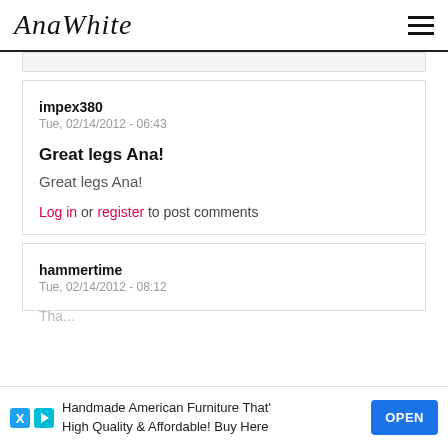AnaWhite
impex380
Tue, 02/14/2012 - 06:43
Great legs Ana!
Great legs Ana!
Log in or register to post comments
hammertime
Tue, 02/14/2012 - 08:12
Handmade American Furniture That' High Quality & Affordable! Buy Here  OPEN